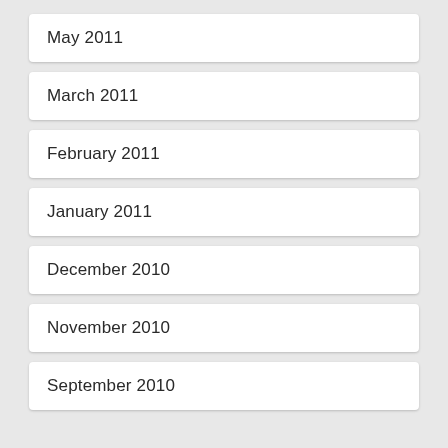May 2011
March 2011
February 2011
January 2011
December 2010
November 2010
September 2010